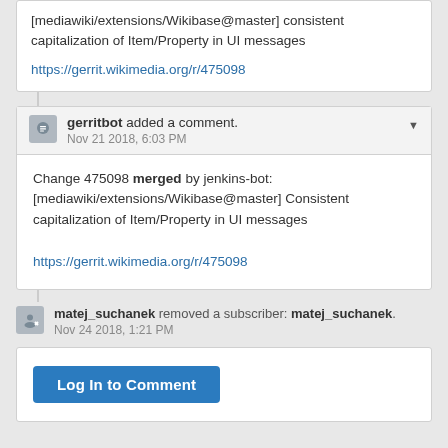[mediawiki/extensions/Wikibase@master] consistent capitalization of Item/Property in UI messages
https://gerrit.wikimedia.org/r/475098
gerritbot added a comment.
Nov 21 2018, 6:03 PM
Change 475098 merged by jenkins-bot: [mediawiki/extensions/Wikibase@master] Consistent capitalization of Item/Property in UI messages
https://gerrit.wikimedia.org/r/475098
matej_suchanek removed a subscriber: matej_suchanek.
Nov 24 2018, 1:21 PM
Log In to Comment